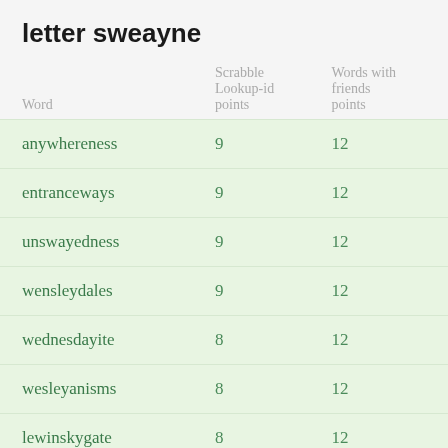letter sweayne
| Word | Scrabble Lookup-id points | Words with friends points |
| --- | --- | --- |
| anywhereness | 9 | 12 |
| entranceways | 9 | 12 |
| unswayedness | 9 | 12 |
| wensleydales | 9 | 12 |
| wednesdayite | 8 | 12 |
| wesleyanisms | 8 | 12 |
| lewinskygate | 8 | 12 |